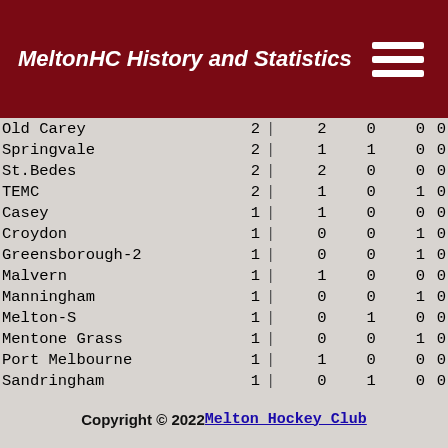MeltonHC History and Statistics
|  | P | | | W | D | L |  |
| --- | --- | --- | --- | --- | --- | --- |
| Old Carey | 2 | | | 2 | 0 | 0 | 0 |
| Springvale | 2 | | | 1 | 1 | 0 | 0 |
| St.Bedes | 2 | | | 2 | 0 | 0 | 0 |
| TEMC | 2 | | | 1 | 0 | 1 | 0 |
| Casey | 1 | | | 1 | 0 | 0 | 0 |
| Croydon | 1 | | | 0 | 0 | 1 | 0 |
| Greensborough-2 | 1 | | | 0 | 0 | 1 | 0 |
| Malvern | 1 | | | 1 | 0 | 0 | 0 |
| Manningham | 1 | | | 0 | 0 | 1 | 0 |
| Melton-S | 1 | | | 0 | 1 | 0 | 0 |
| Mentone Grass | 1 | | | 0 | 0 | 1 | 0 |
| Port Melbourne | 1 | | | 1 | 0 | 0 | 0 |
| Sandringham | 1 | | | 0 | 1 | 0 | 0 |
| Scotch College | 1 | | | 1 | 0 | 0 | 0 |
| Shepparton | 1 | | | 0 | 0 | 1 | 0 |
| Sherbrooke | 1 | | | 0 | 0 | 1 | 0 |
| Sunshine | 1 | | | 1 | 0 | 0 | 0 |
| Werribee-G | 1 | | | 1 | 0 | 0 | 0 |
Copyright © 2022 Melton Hockey Club